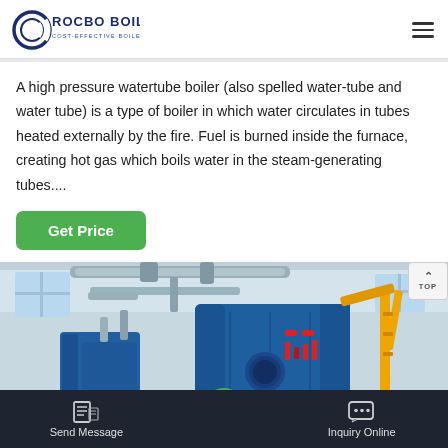ROCBO BOILER — COST-EFFECTIVE BOILER SUPPLIER
A high pressure watertube boiler (also spelled water-tube and water tube) is a type of boiler in which water circulates in tubes heated externally by the fire. Fuel is burned inside the furnace, creating hot gas which boils water in the steam-generating tubes....
[Figure (screenshot): Green 'Get Price' button]
[Figure (photo): Industrial boiler room with blue boiler equipment, pipes, and yellow crane arm visible in a white industrial space.]